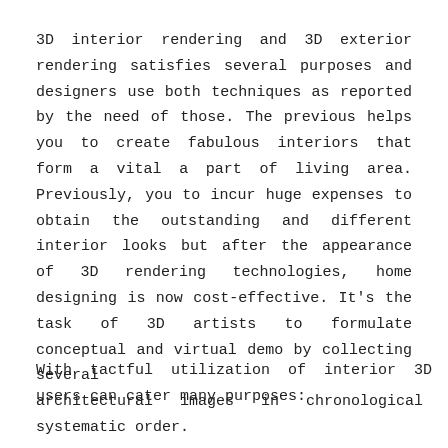3D interior rendering and 3D exterior rendering satisfies several purposes and designers use both techniques as reported by the need of those. The previous helps you to create fabulous interiors that form a vital a part of living area. Previously, you to incur huge expenses to obtain the outstanding and different interior looks but after the appearance of 3D rendering technologies, home designing is now cost-effective. It's the task of 3D artists to formulate conceptual and virtual demo by collecting several architectural images in chronological and systematic order.
With tactful utilization of interior 3D rendering users can cater many purposes: